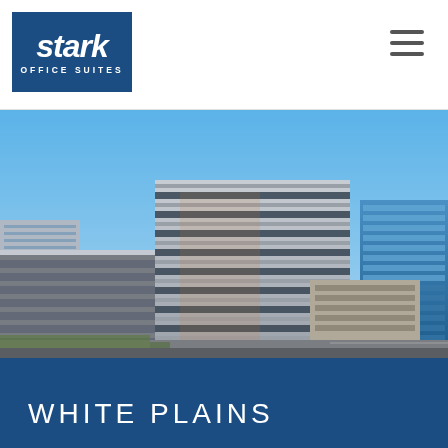[Figure (logo): Stark Office Suites logo — white text on dark blue background, italic 'stark' in large font, 'OFFICE SUITES' in small caps below]
[Figure (photo): Aerial/elevated view of White Plains, NY urban downtown office buildings under clear blue sky. A large multi-story glass and concrete office tower dominates the center, with additional office towers and a parking structure visible. A blue glass skyscraper is seen on the far right.]
WHITE PLAINS